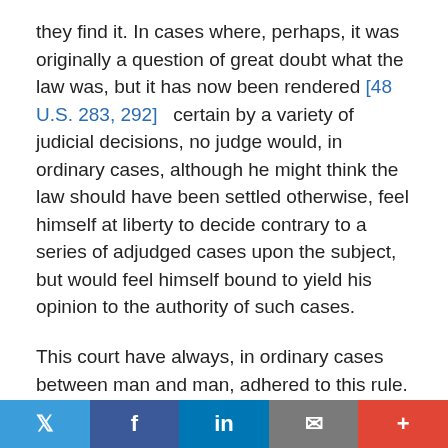they find it. In cases where, perhaps, it was originally a question of great doubt what the law was, but it has now been rendered [48 U.S. 283, 292]   certain by a variety of judicial decisions, no judge would, in ordinary cases, although he might think the law should have been settled otherwise, feel himself at liberty to decide contrary to a series of adjudged cases upon the subject, but would feel himself bound to yield his opinion to the authority of such cases.
This court have always, in ordinary cases between man and man, adhered to this rule.
If this were not so, it will at once be perceived that the law would remain for ever unsettled, which would be one of the greatest misfortunes in a community like ours, who are governed by fixed laws, and not by the whims and caprices
Twitter | Facebook | LinkedIn | Email | +